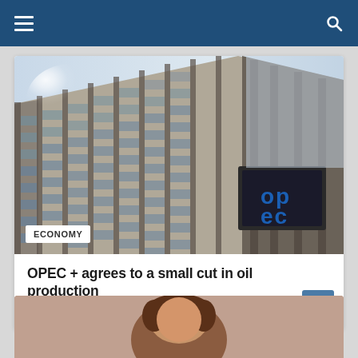Navigation bar with hamburger menu and search icon
[Figure (photo): Low-angle view of the OPEC headquarters building facade, a modern grey stone building with vertical fins and dark window mullions. The OPEC logo sign is visible on the right side of the building. Sun glare visible upper left. Sky visible upper right.]
ECONOMY
OPEC + agrees to a small cut in oil production
September 5, 2022 / Laura Geis
[Figure (photo): Partial view of a person with brown hair, bottom of page, card partially cut off.]